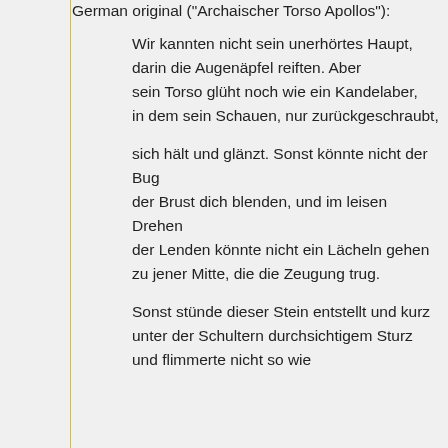German original ("Archaischer Torso Apollos"):
Wir kannten nicht sein unerhörtes Haupt,
darin die Augenäpfel reiften. Aber
sein Torso glüht noch wie ein Kandelaber,
in dem sein Schauen, nur zurückgeschraubt,
sich hält und glänzt. Sonst könnte nicht der Bug
der Brust dich blenden, und im leisen Drehen
der Lenden könnte nicht ein Lächeln gehen
zu jener Mitte, die die Zeugung trug.
Sonst stünde dieser Stein entstellt und kurz
unter der Schultern durchsichtigem Sturz
und flimmerte nicht so wie